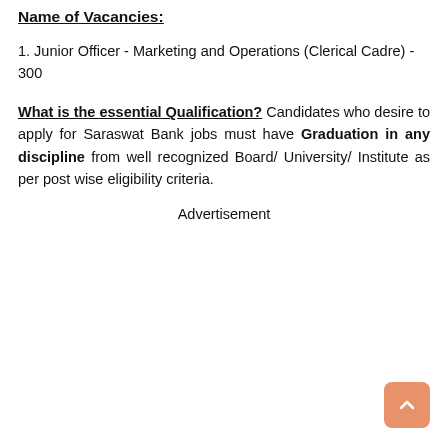Name of Vacancies:
1. Junior Officer - Marketing and Operations (Clerical Cadre) - 300
What is the essential Qualification? Candidates who desire to apply for Saraswat Bank jobs must have Graduation in any discipline from well recognized Board/ University/ Institute as per post wise eligibility criteria.
Advertisement